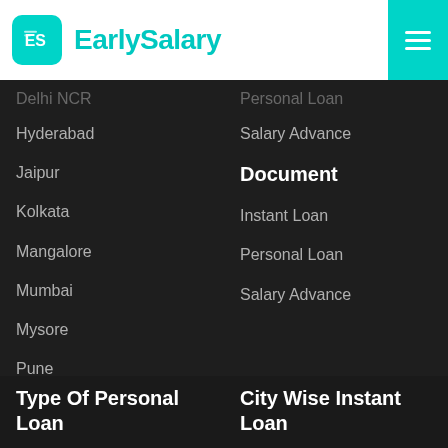EarlySalary
Delhi NCR
Hyderabad
Jaipur
Kolkata
Mangalore
Mumbai
Mysore
Pune
Secunderabad
Surat
Vadodara
Vijaywada
Visakhapatnam (Vizag)
Personal Loan
Salary Advance
Document
Instant Loan
Personal Loan
Salary Advance
Type Of Personal Loan
City Wise Instant Loan